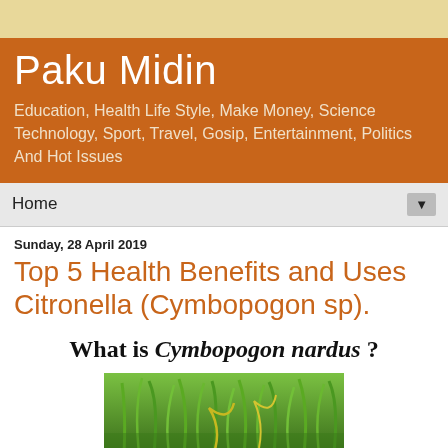Paku Midin
Education, Health Life Style, Make Money, Science Technology, Sport, Travel, Gosip, Entertainment, Politics And Hot Issues
Home
Sunday, 28 April 2019
Top 5 Health Benefits and Uses Citronella (Cymbopogon sp).
What is Cymbopogon nardus ?
[Figure (photo): Close-up photo of Cymbopogon nardus (citronella) plant showing green grass-like leaves]